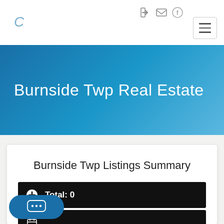C [logo] with navigation icons and hamburger menu
Burnside Twp Real Estate
Burnside Twp Listings Summary
Total: 0